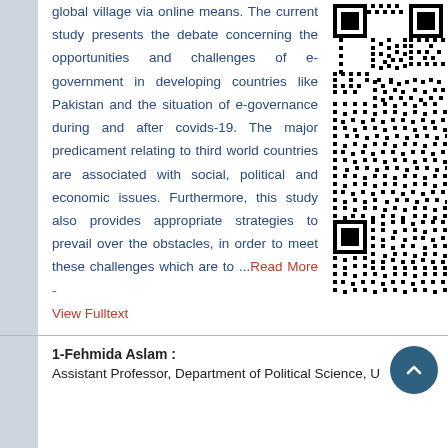global village via online means. The current study presents the debate concerning the opportunities and challenges of e-government in developing countries like Pakistan and the situation of e-governance during and after covids-19. The major predicament relating to third world countries are associated with social, political and economic issues. Furthermore, this study also provides appropriate strategies to prevail over the obstacles, in order to meet these challenges which are to ... Read More - View Fulltext
[Figure (other): QR code for article full text]
1-Fehmida Aslam : Assistant Professor, Department of Political Science, U...